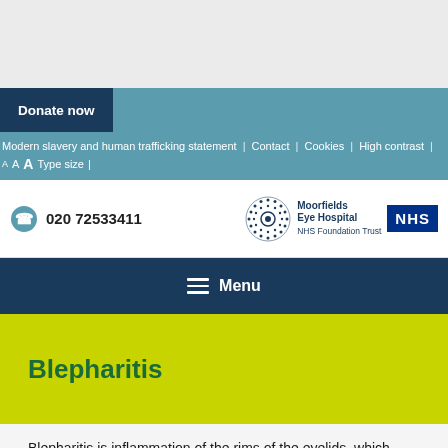Donate now
Modern slavery and human trafficking statement | Contact | Cookies | High contrast | A A A Type size |
020 72533411 — Moorfields Eye Hospital NHS Foundation Trust
Menu
Blepharitis
Blepharitis is inflammation of the rims of the eyelids, which causes them to become red and swollen.